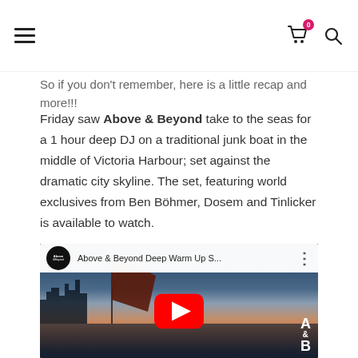[Navigation bar with hamburger menu, shopping cart with badge 0, and search icon]
So if you don't remember, here is a little recap and more!!!
Friday saw Above & Beyond take to the seas for a 1 hour deep DJ on a traditional junk boat in the middle of Victoria Harbour; set against the dramatic city skyline. The set, featuring world exclusives from Ben Böhmer, Dosem and Tinlicker is available to watch.
[Figure (screenshot): YouTube video embed showing Above & Beyond Deep Warm Up S... with a thumbnail of a traditional junk boat on Victoria Harbour at sunset with the Hong Kong skyline visible. A red YouTube play button is centered on the image. The Above & Beyond A&B logo watermark appears in the bottom right corner.]